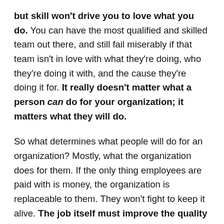but skill won't drive you to love what you do. You can have the most qualified and skilled team out there, and still fail miserably if that team isn't in love with what they're doing, who they're doing it with, and the cause they're doing it for. It really doesn't matter what a person can do for your organization; it matters what they will do.
So what determines what people will do for an organization? Mostly, what the organization does for them. If the only thing employees are paid with is money, the organization is replaceable to them. They won't fight to keep it alive. The job itself must improve the quality of their lives before it will earn their loyalty.
According to Tony Robbins, we have 6 basic human